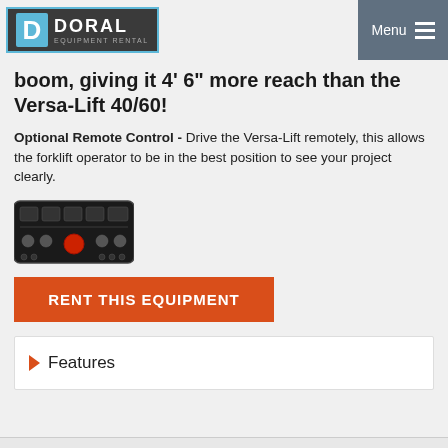Doral Equipment Rental — Menu
boom, giving it 4' 6" more reach than the Versa-Lift 40/60!
Optional Remote Control - Drive the Versa-Lift remotely, this allows the forklift operator to be in the best position to see your project clearly.
[Figure (photo): Remote control device with black casing, multiple buttons and a red center button]
RENT THIS EQUIPMENT
Features